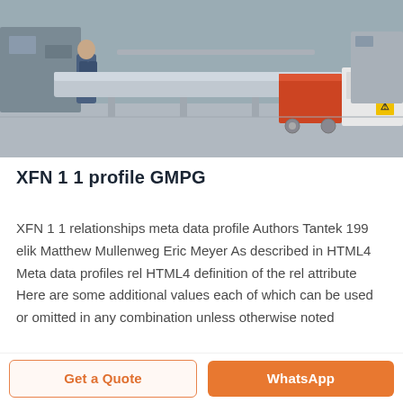[Figure (photo): Industrial packaging machine on a factory floor. A long horizontal conveyor/flow wrapper machine with stainless steel and red/orange panels is visible in the foreground, with workers and other equipment in the background.]
XFN 1 1 profile GMPG
XFN 1 1 relationships meta data profile Authors Tantek 199 elik Matthew Mullenweg Eric Meyer As described in HTML4 Meta data profiles rel HTML4 definition of the rel attribute Here are some additional values each of which can be used or omitted in any combination unless otherwise noted
Get a Quote   WhatsApp